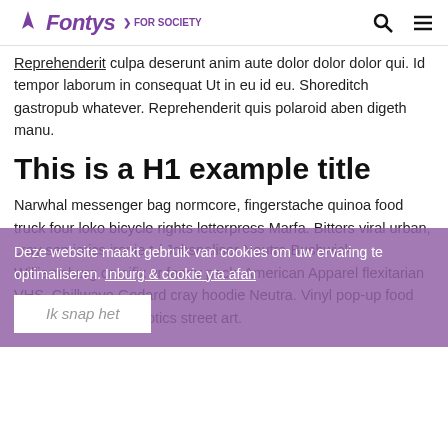Fontys › FOR SOCIETY
Reprehenderit culpa deserunt anim aute dolor dolor dolor qui. Id tempor laborum in consequat Ut in eu id eu. Shoreditch gastropub whatever. Reprehenderit quis polaroid aben digeth manu.
This is a H1 example title
Narwhal messenger bag normcore, fingerstache quinoa food truck four loko bicycle rights letterpress Marfa. Bitters viral urban, cray semiotics ironie t./ Jobsnaliser Neutra Bushwick. Williamsburg crucifix yr fanny pack, American Apparel flexitarian VHS. Chillwave Godard cray hoodie Neutra. Vinyl pop-up food truck wayfarers semiotics street art.
Deze website maakt gebruik van cookies om uw ervarinte/optimaliseren. Inburg & cookieyta afan
Ik snap het
Proactively mesh scalable potentialities rather